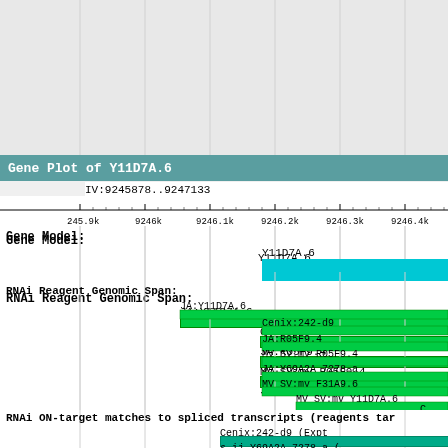[Figure (other): Gene Plot of Y11D7A.6 genomic browser view showing gene model, RNAi reagent genomic spans for multiple reagents including JA:Y11D7A.6, Cenix:242-d9, JA:R05F9.4, MV_SV:mv_R05F9.4, JA:Y69A2A_7278.a, MV_SV:mv_F31A9.6, MV_SV:mv_Y11D7A.6, Cenix:234-d5, JA:C29F5.6, JA:F31A9.6, JA:F52E1.12, and RNAi ON-target matches to spliced transcripts]
Gene Plot of Y11D7A.6
IV:9245878..9247133
245.9k   9246k   9246.1k   9246.2k   9246.3k   9246.4k
Gene Model:
Y11D7A.6
RNAi Reagent Genomic Span:
JA:Y11D7A.6
Cenix:242-d9
JA:R05F9.4
MV_SV:mv_R05F9.4
JA:Y69A2A_7278.a
MV_SV:mv_F31A9.6
MV_SV:mv_Y11D7A.6
Cenix:234-d5
JA:C29F5.6
JA:F31A9.6
JA:F52E1.12
RNAi ON-target matches to spliced transcripts (reagents tar
Cenix:242-d9 (Expt
s.ij Y69A2A 7278.a (